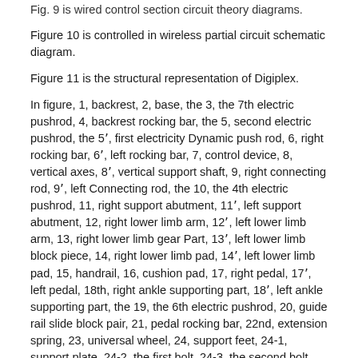Fig. 9 is wired control section circuit theory diagrams.
Figure 10 is controlled in wireless partial circuit schematic diagram.
Figure 11 is the structural representation of Digiplex.
In figure, 1, backrest, 2, base, the 3, the 7th electric pushrod, 4, backrest rocking bar, the 5, second electric pushrod, the 5', first electricity Dynamic push rod, 6, right rocking bar, 6', left rocking bar, 7, control device, 8, vertical axes, 8', vertical support shaft, 9, right connecting rod, 9', left Connecting rod, the 10, the 4th electric pushrod, 11, right support abutment, 11', left support abutment, 12, right lower limb arm, 12', left lower limb arm, 13, right lower limb gear Part, 13', left lower limb block piece, 14, right lower limb pad, 14', left lower limb pad, 15, handrail, 16, cushion pad, 17, right pedal, 17', left pedal, 18th, right ankle supporting part, 18', left ankle supporting part, the 19, the 6th electric pushrod, 20, guide rail slide block pair, 21, pedal rocking bar, 22nd, extension spring, 23, universal wheel, 24, support feet, 24-1, support plate, 24-2, the first bolt, 24-3, the second bolt, 24-4, spiral shell Stricture of vagina axle, 25, footstock.